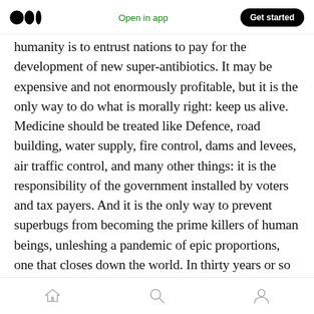Medium logo | Open in app | Get started
humanity is to entrust nations to pay for the development of new super-antibiotics. It may be expensive and not enormously profitable, but it is the only way to do what is morally right: keep us alive. Medicine should be treated like Defence, road building, water supply, fire control, dams and levees, air traffic control, and many other things: it is the responsibility of the government installed by voters and tax payers. And it is the only way to prevent superbugs from becoming the prime killers of human beings, unleshing a pandemic of epic proportions, one that closes down the world. In thirty years or so
Home | Search | Profile